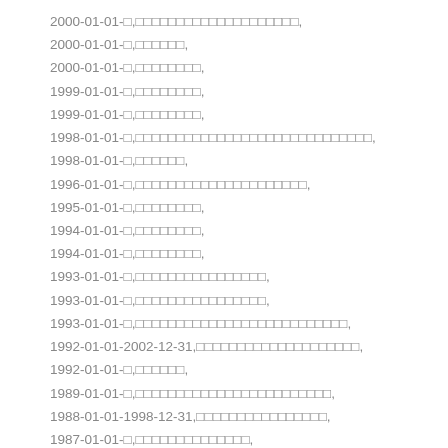2000-01-01-□,□□□□□□□□□□□□□□□□□□□□,
2000-01-01-□,□□□□□□,
2000-01-01-□,□□□□□□□□,
1999-01-01-□,□□□□□□□□,
1999-01-01-□,□□□□□□□□,
1998-01-01-□,□□□□□□□□□□□□□□□□□□□□□□□□□□□□□,
1998-01-01-□,□□□□□□,
1996-01-01-□,□□□□□□□□□□□□□□□□□□□□□,
1995-01-01-□,□□□□□□□□,
1994-01-01-□,□□□□□□□□,
1994-01-01-□,□□□□□□□□,
1993-01-01-□,□□□□□□□□□□□□□□□□,
1993-01-01-□,□□□□□□□□□□□□□□□□,
1993-01-01-□,□□□□□□□□□□□□□□□□□□□□□□□□□□,
1992-01-01-2002-12-31,□□□□□□□□□□□□□□□□□□□□,
1992-01-01-□,□□□□□□,
1989-01-01-□,□□□□□□□□□□□□□□□□□□□□□□□□,
1988-01-01-1998-12-31,□□□□□□□□□□□□□□□□,
1987-01-01-□,□□□□□□□□□□□□□□,
1986-01-01-□,□□□□□□□□□□□□□□□□□□,
1986-01-01-□,□□□□□□□□□□□□□□□□□□,
1986-01-01-□,□□□□□□□□,
1986-01-01-□,